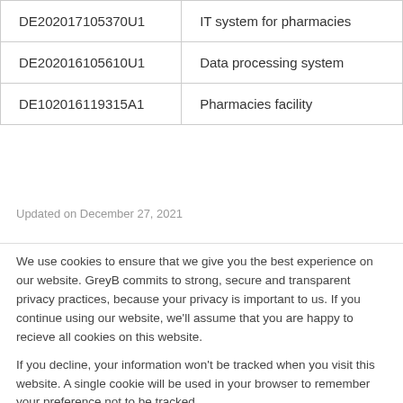|  |  |
| --- | --- |
| DE202017105370U1 | IT system for pharmacies |
| DE202016105610U1 | Data processing system |
| DE102016119315A1 | Pharmacies facility |
Updated on December 27, 2021
We use cookies to ensure that we give you the best experience on our website. GreyB commits to strong, secure and transparent privacy practices, because your privacy is important to us. If you continue using our website, we'll assume that you are happy to recieve all cookies on this website.
If you decline, your information won't be tracked when you visit this website. A single cookie will be used in your browser to remember your preference not to be tracked.